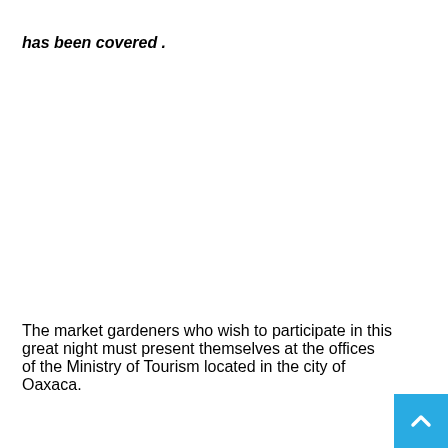has been covered .
The market gardeners who wish to participate in this great night must present themselves at the offices of the Ministry of Tourism located in the city of Oaxaca.